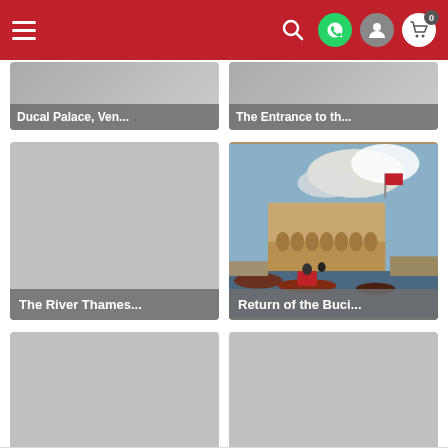Navigation bar with hamburger menu, search, WhatsApp, user, and cart icons
[Figure (screenshot): Ducal Palace, Ven... - artwork card partially visible]
[Figure (screenshot): The Entrance to th... - artwork card partially visible]
[Figure (screenshot): The River Thames... - artwork card with grey placeholder image]
[Figure (photo): Return of the Buci... - painting showing Venetian scene with boats and buildings]
[Figure (screenshot): The Basin of San ... - artwork card with grey placeholder image]
[Figure (screenshot): Rialto Bridge from... - artwork card with grey placeholder image]